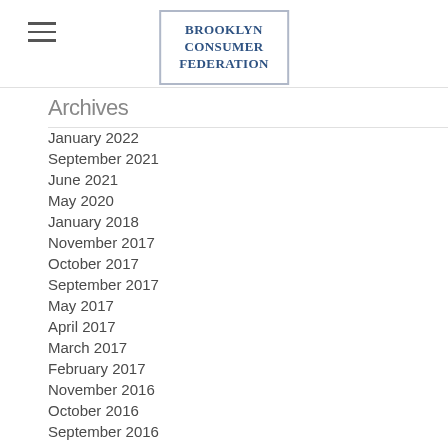Brooklyn Consumer Federation
Archives
January 2022
September 2021
June 2021
May 2020
January 2018
November 2017
October 2017
September 2017
May 2017
April 2017
March 2017
February 2017
November 2016
October 2016
September 2016